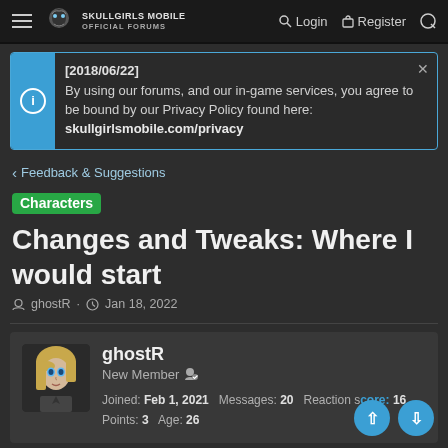SKULLGIRLS MOBILE OFFICIAL FORUMS — Login | Register
[2018/06/22] By using our forums, and our in-game services, you agree to be bound by our Privacy Policy found here: skullgirlsmobile.com/privacy
Feedback & Suggestions
Characters Changes and Tweaks: Where I would start
ghostR · Jan 18, 2022
ghostR
New Member
Joined: Feb 1, 2021  Messages: 20  Reaction score: 16
Points: 3  Age: 26